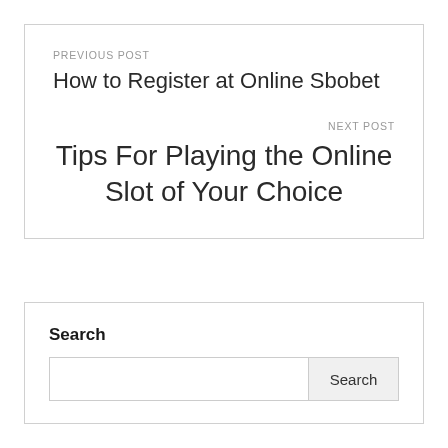PREVIOUS POST
How to Register at Online Sbobet
NEXT POST
Tips For Playing the Online Slot of Your Choice
Search